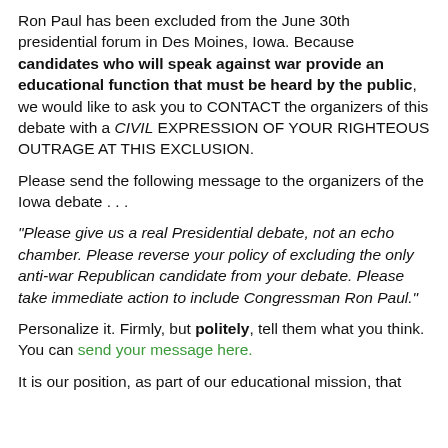Ron Paul has been excluded from the June 30th presidential forum in Des Moines, Iowa. Because candidates who will speak against war provide an educational function that must be heard by the public, we would like to ask you to CONTACT the organizers of this debate with a CIVIL EXPRESSION OF YOUR RIGHTEOUS OUTRAGE AT THIS EXCLUSION.
Please send the following message to the organizers of the Iowa debate . . .
“Please give us a real Presidential debate, not an echo chamber. Please reverse your policy of excluding the only anti-war Republican candidate from your debate. Please take immediate action to include Congressman Ron Paul.”
Personalize it. Firmly, but politely, tell them what you think. You can send your message here.
It is our position, as part of our educational mission, that